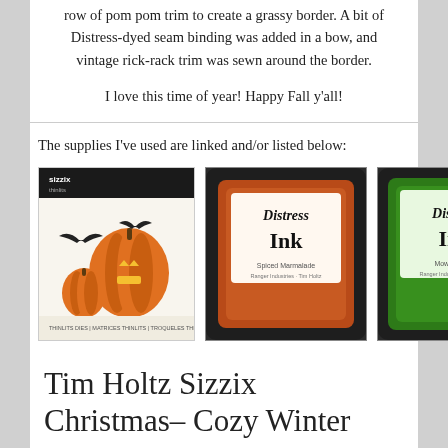row of pom pom trim to create a grassy border. A bit of Distress-dyed seam binding was added in a bow, and vintage rick-rack trim was sewn around the border.
I love this time of year! Happy Fall y'all!
The supplies I've used are linked and/or listed below:
[Figure (photo): Three product images: a Sizzix pumpkin die-cut package, an orange Distress Ink pad, and a green Distress Ink pad]
Benzie Felt
Eclectic Elements Abandoned Fabric Collection
Trim
Tim Holtz Sizzix Christmas– Cozy Winter